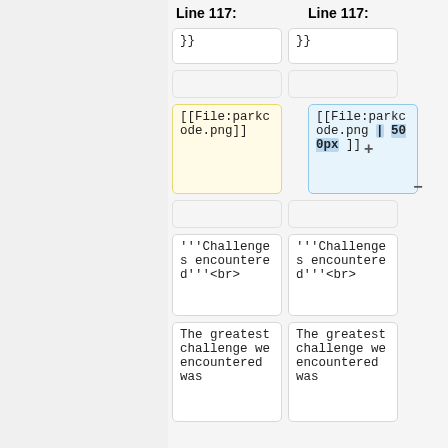Line 117:   Line 117:
}}  (left column) }}  (right column) — diff row
empty row
[[File:parkcode.png]] (removed)  [[File:parkcode.png | 500px ]] (added)
empty row
'''Challenges encountered'''<br>  '''Challenges encountered'''<br>
The greatest challenge we encountered was  (both columns)